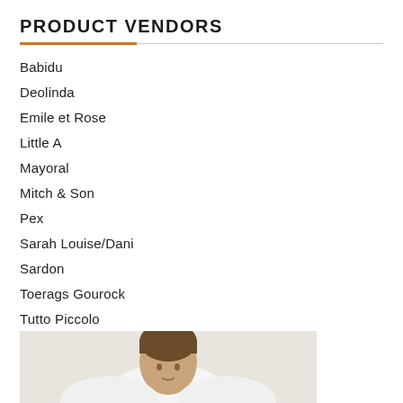PRODUCT VENDORS
Babidu
Deolinda
Emile et Rose
Little A
Mayoral
Mitch & Son
Pex
Sarah Louise/Dani
Sardon
Toerags Gourock
Tutto Piccolo
[Figure (photo): Partial photo of a person, cropped at bottom of page, showing upper body against light background]